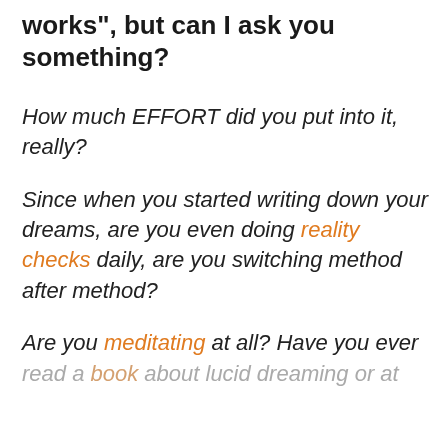works", but can I ask you something?
How much EFFORT did you put into it, really?
Since when you started writing down your dreams, are you even doing reality checks daily, are you switching method after method?
Are you meditating at all? Have you ever read a book about lucid dreaming or at